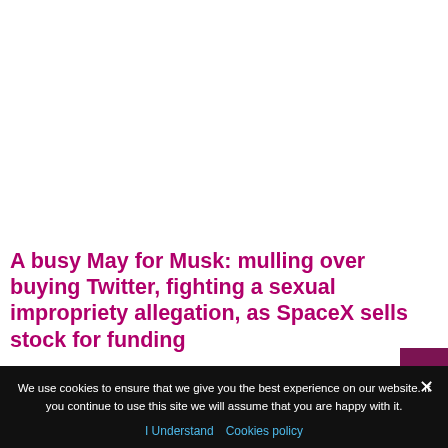A busy May for Musk: mulling over buying Twitter, fighting a sexual impropriety allegation, as SpaceX sells stock for funding
It has been a busy month for SpaceX and Tesla supremo Elon Musk. The world's richest man grabbed headlines at
We use cookies to ensure that we give you the best experience on our website. If you continue to use this site we will assume that you are happy with it.
I Understand   Cookies policy